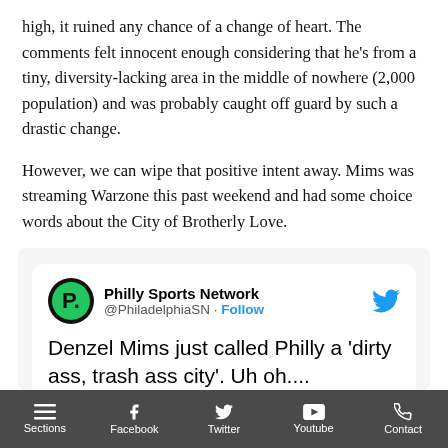high, it ruined any chance of a change of heart. The comments felt innocent enough considering that he's from a tiny, diversity-lacking area in the middle of nowhere (2,000 population) and was probably caught off guard by such a drastic change.
However, we can wipe that positive intent away. Mims was streaming Warzone this past weekend and had some choice words about the City of Brotherly Love.
[Figure (screenshot): Embedded tweet from Philly Sports Network (@PhiladelphiaSN) with Follow link and Twitter bird icon. Tweet text: Denzel Mims just called Philly a ‘dirty ass, trash ass city’. Uh oh.... Below the tweet text is a video thumbnail with a 'Watch on Twitter' button.]
Sections  Facebook  Twitter  Youtube  Contact